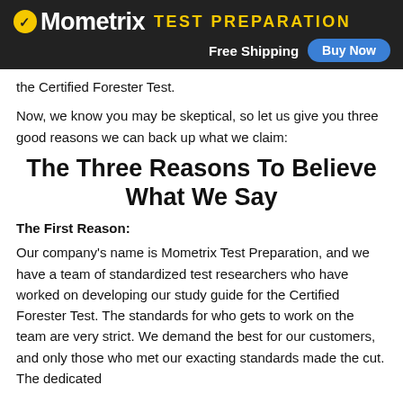Mometrix TEST PREPARATION | Free Shipping | Buy Now
the Certified Forester Test.
Now, we know you may be skeptical, so let us give you three good reasons we can back up what we claim:
The Three Reasons To Believe What We Say
The First Reason:
Our company's name is Mometrix Test Preparation, and we have a team of standardized test researchers who have worked on developing our study guide for the Certified Forester Test. The standards for who gets to work on the team are very strict. We demand the best for our customers, and only those who met our exacting standards made the cut. The dedicated